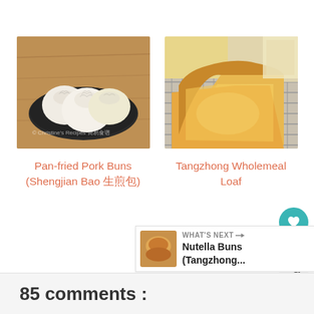[Figure (photo): Photo of steamed buns (baozi) on a dark plate on a wooden surface, with watermark 'Christine's Recipes 简易食谱']
[Figure (photo): Photo of sliced Tangzhong wholemeal loaf bread on a wire rack]
Pan-fried Pork Buns (Shengjian Bao 生煎包)
Tangzhong Wholemeal Loaf
15
WHAT'S NEXT → Nutella Buns (Tangzhong...
85 comments :